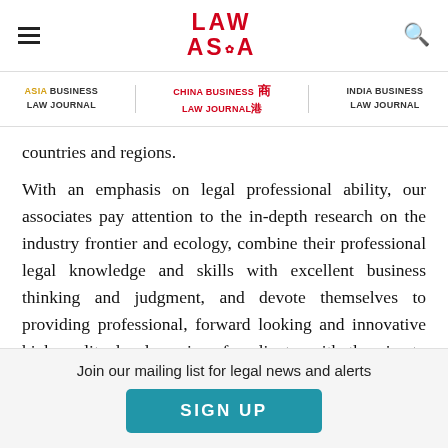LAW ASIA (logo with hamburger menu and search icon)
ASIA BUSINESS LAW JOURNAL | CHINA BUSINESS LAW JOURNAL | INDIA BUSINESS LAW JOURNAL
countries and regions.
With an emphasis on legal professional ability, our associates pay attention to the in-depth research on the industry frontier and ecology, combine their professional legal knowledge and skills with excellent business thinking and judgment, and devote themselves to providing professional, forward looking and innovative high-quality legal services for clients, with the aim to become an innovative and reliable legal service brand in
Join our mailing list for legal news and alerts
SIGN UP